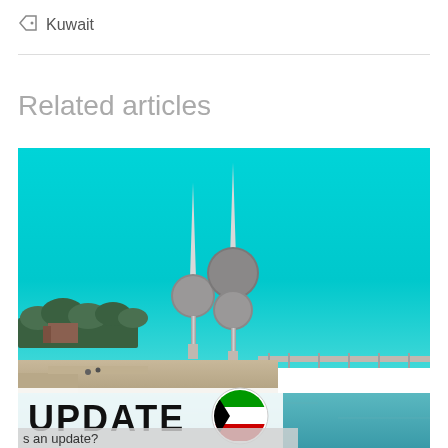Kuwait
Related articles
[Figure (photo): Photo of Kuwait Towers with teal/cyan sky and waterfront, with overlay showing UPDATE text and Kuwait flag emoji]
UPDATE
s an update?